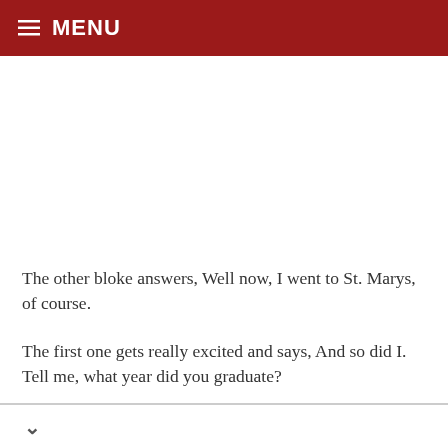≡ MENU
The other bloke answers, Well now, I went to St. Marys, of course.
The first one gets really excited and says, And so did I. Tell me, what year did you graduate?
The other bloke answers, Well, now, let's see. I graduated in 1964.